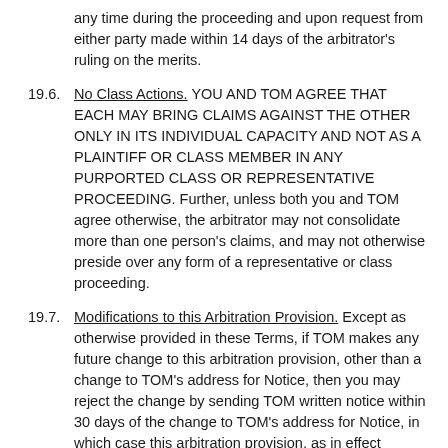any time during the proceeding and upon request from either party made within 14 days of the arbitrator's ruling on the merits.
19.6. No Class Actions. YOU AND TOM AGREE THAT EACH MAY BRING CLAIMS AGAINST THE OTHER ONLY IN ITS INDIVIDUAL CAPACITY AND NOT AS A PLAINTIFF OR CLASS MEMBER IN ANY PURPORTED CLASS OR REPRESENTATIVE PROCEEDING. Further, unless both you and TOM agree otherwise, the arbitrator may not consolidate more than one person's claims, and may not otherwise preside over any form of a representative or class proceeding.
19.7. Modifications to this Arbitration Provision. Except as otherwise provided in these Terms, if TOM makes any future change to this arbitration provision, other than a change to TOM's address for Notice, then you may reject the change by sending TOM written notice within 30 days of the change to TOM's address for Notice, in which case this arbitration provision, as in effect immediately